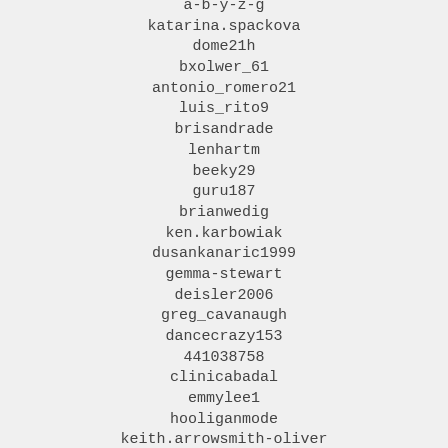a-b-y-z-g
katarina.spackova
dome21h
bxolwer_61
antonio_romero21
luis_rito9
brisandrade
lenhartm
beeky29
guru187
brianwedig
ken.karbowiak
dusankanaric1999
gemma-stewart
deisler2006
greg_cavanaugh
dancecrazy153
441038758
clinicabadal
emmylee1
hooliganmode
keith.arrowsmith-oliver
hiceez
jnick326